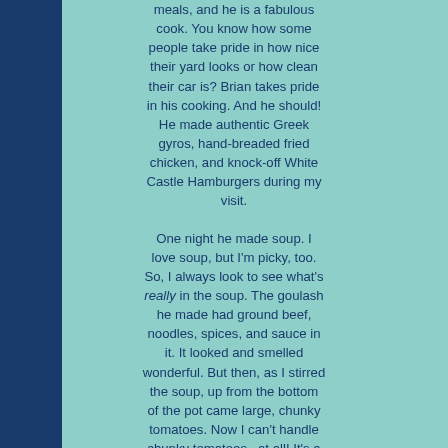meals, and he is a fabulous cook. You know how some people take pride in how nice their yard looks or how clean their car is? Brian takes pride in his cooking. And he should! He made authentic Greek gyros, hand-breaded fried chicken, and knock-off White Castle Hamburgers during my visit.

One night he made soup. I love soup, but I'm picky, too. So, I always look to see what's really in the soup. The goulash he made had ground beef, noodles, spices, and sauce in it. It looked and smelled wonderful. But then, as I stirred the soup, up from the bottom of the pot came large, chunky tomatoes. Now I can't handle chunky tomatoes...at all! It's a texture thing. As a result, I had two options. First, I could completely walk away from the meal and vow not to eat it